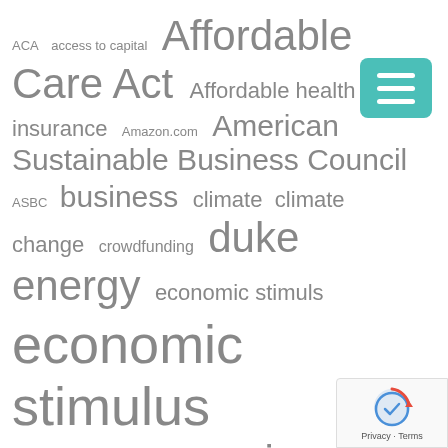[Figure (infographic): Tag cloud / word cloud showing policy and business-related terms in varying font sizes indicating frequency. Terms include: ACA, access to capital, Affordable Care Act, Affordable health insurance, Amazon.com, American Sustainable Business Council, ASBC, business, climate, climate change, crowdfunding, duke energy, economic stimuls, economic stimulus, economy, environment, EPA, healthcare, immigration reform, kilowatt hours, Main Street Alliance, Medicaid Expansion, multinational corporations, NFIB, Obamacare. A teal/green hamburger menu button appears top-right. A reCAPTCHA badge appears bottom-right.]